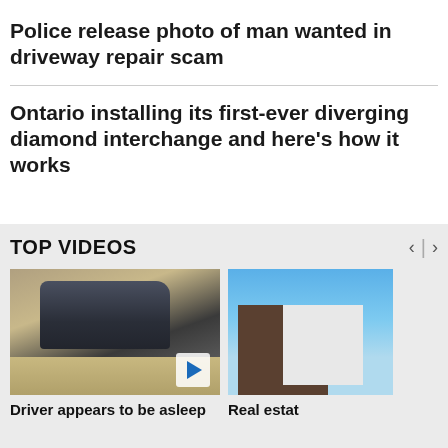Police release photo of man wanted in driveway repair scam
Ontario installing its first-ever diverging diamond interchange and here's how it works
TOP VIDEOS
[Figure (photo): Video thumbnail showing a car from outside, driver visible through window]
[Figure (photo): Video thumbnail showing a house/building against blue sky]
Driver appears to be asleep
Real estat